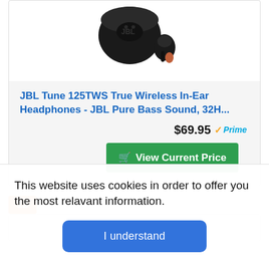[Figure (photo): JBL Tune 125TWS True Wireless In-Ear Headphones product image showing black earbuds case and one earbud]
JBL Tune 125TWS True Wireless In-Ear Headphones - JBL Pure Bass Sound, 32H...
$69.95 ✓Prime
🛒 View Current Price
12
This website uses cookies in order to offer you the most relavant information.
I understand